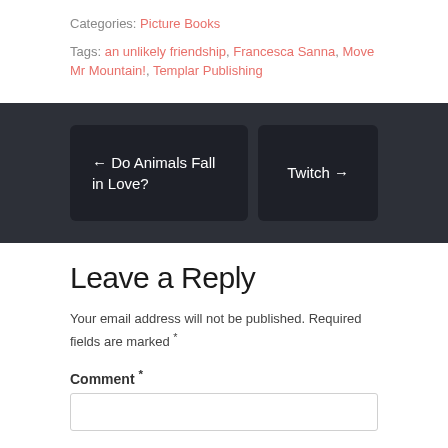Categories: Picture Books
Tags: an unlikely friendship, Francesca Sanna, Move Mr Mountain!, Templar Publishing
← Do Animals Fall in Love?
Twitch →
Leave a Reply
Your email address will not be published. Required fields are marked *
Comment *